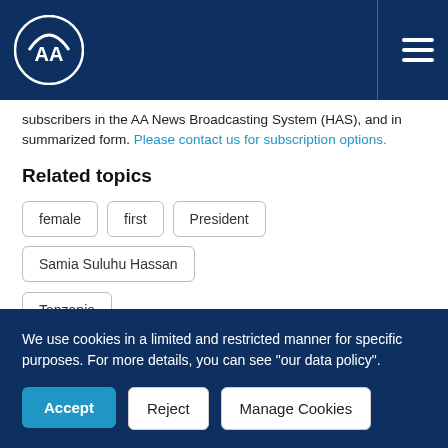AA (Anadolu Agency) logo and navigation
subscribers in the AA News Broadcasting System (HAS), and in summarized form. Please contact us for subscription options.
Related topics
female
first
President
Samia Suluhu Hassan
Tanzania
Bu haberi paylaşın
[Figure (infographic): Social media share icons: Facebook, Twitter, LinkedIn, Email, WhatsApp, Bionluk]
We use cookies in a limited and restricted manner for specific purposes. For more details, you can see "our data policy".
Accept | Reject | Manage Cookies